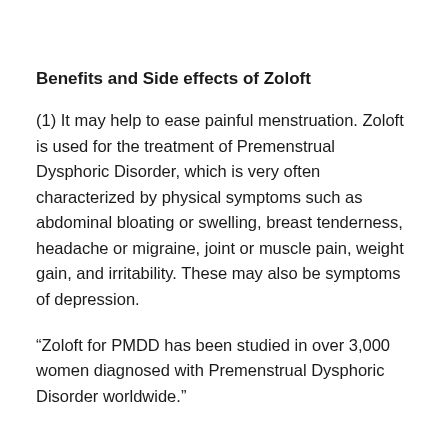Benefits and Side effects of Zoloft
(1) It may help to ease painful menstruation. Zoloft is used for the treatment of Premenstrual Dysphoric Disorder, which is very often characterized by physical symptoms such as abdominal bloating or swelling, breast tenderness, headache or migraine, joint or muscle pain, weight gain, and irritability. These may also be symptoms of depression.
“Zoloft for PMDD has been studied in over 3,000 women diagnosed with Premenstrual Dysphoric Disorder worldwide.”